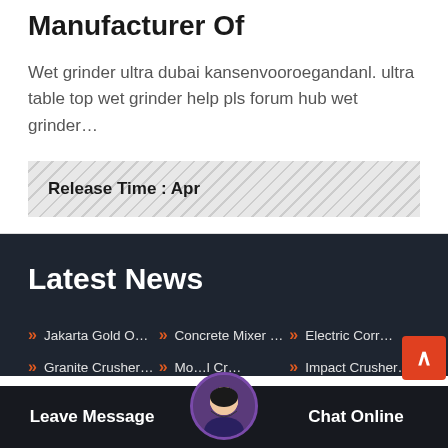Manufacturer Of
Wet grinder ultra dubai kansenvooroegandanl. ultra table top wet grinder help pls forum hub wet grinder…
Release Time : Apr
Latest News
Jakarta Gold O…
Concrete Mixer …
Electric Corr…
Granite Crusher…
Mo…l Cr…
Impact Crusher…
Leave Message
Chat Online